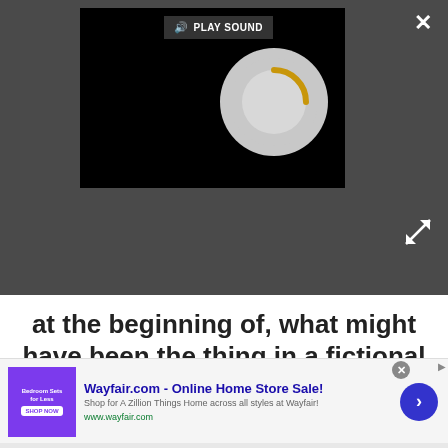[Figure (screenshot): Dark gray toolbar with embedded video player showing a loading spinner (circular gray shape with gold/orange arc). A 'PLAY SOUND' button with speaker icon is in the top area of the player. An X close button is in the top right corner. Expand arrows icon is in the middle right.]
at the beginning of, what might have been the thing in a fictional universe she might have wanted to say to me, and I think that's where we drove from a little bit. Mandy was so special that day...
[Figure (screenshot): Advertisement banner for Wayfair.com - Online Home Store Sale! Shows a purple/violet bedroom furniture thumbnail image on the left, ad text in the center with blue title link, description and URL, a close X button, an AdChoices arrow icon, and a blue circular CTA arrow button on the right.]